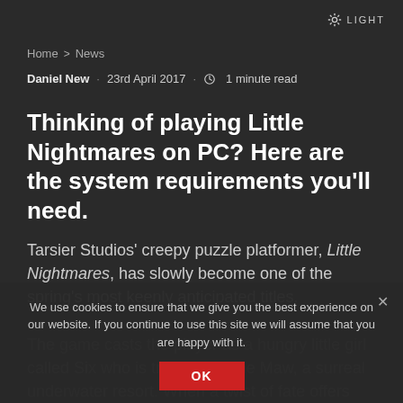☀ LIGHT
Home > News
Daniel New · 23rd April 2017 · 🕐 1 minute read
Thinking of playing Little Nightmares on PC? Here are the system requirements you'll need.
Tarsier Studios' creepy puzzle platformer, Little Nightmares, has slowly become one of the spring's most keenly anticipated titles.
The game casts the player as a hungry little girl called Six who is trapped in The Maw, a surreal underwater resort. When a twist of fate offers
We use cookies to ensure that we give you the best experience on our website. If you continue to use this site we will assume that you are happy with it.